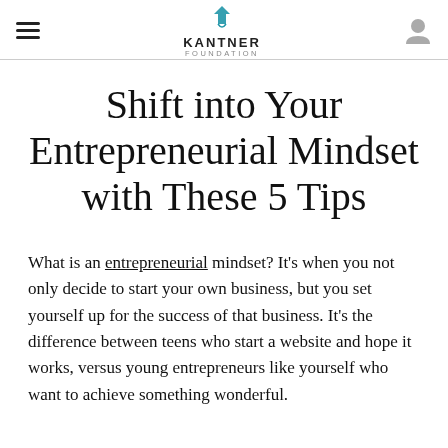KANTNER FOUNDATION
Shift into Your Entrepreneurial Mindset with These 5 Tips
What is an entrepreneurial mindset? It's when you not only decide to start your own business, but you set yourself up for the success of that business. It's the difference between teens who start a website and hope it works, versus young entrepreneurs like yourself who want to achieve something wonderful.